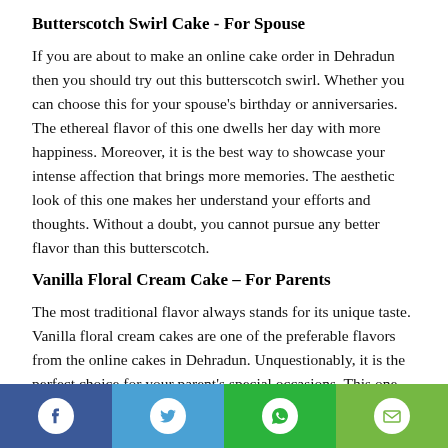Butterscotch Swirl Cake - For Spouse
If you are about to make an online cake order in Dehradun then you should try out this butterscotch swirl. Whether you can choose this for your spouse's birthday or anniversaries. The ethereal flavor of this one dwells her day with more happiness. Moreover, it is the best way to showcase your intense affection that brings more memories. The aesthetic look of this one makes her understand your efforts and thoughts. Without a doubt, you cannot pursue any better flavor than this butterscotch.
Vanilla Floral Cream Cake – For Parents
The most traditional flavor always stands for its unique taste. Vanilla floral cream cakes are one of the preferable flavors from the online cakes in Dehradun. Unquestionably, it is the perfect choice for your parent's special occasions. This one brings them
[Figure (infographic): Social share bar with four buttons: Facebook (dark blue), Twitter (light blue), WhatsApp (green), Email (light green), each with a white circular icon.]